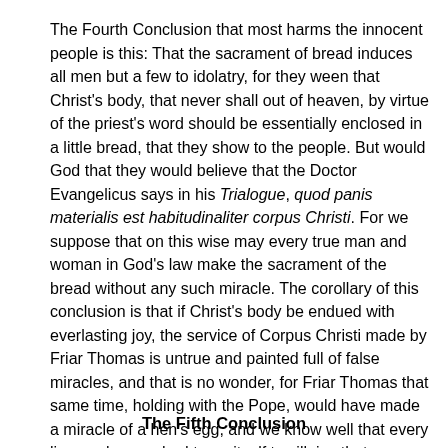The Fourth Conclusion that most harms the innocent people is this: That the sacrament of bread induces all men but a few to idolatry, for they ween that Christ's body, that never shall out of heaven, by virtue of the priest's word should be essentially enclosed in a little bread, that they show to the people. But would God that they would believe that the Doctor Evangelicus says in his Trialogue, quod panis materialis est habitudinaliter corpus Christi. For we suppose that on this wise may every true man and woman in God's law make the sacrament of the bread without any such miracle. The corollary of this conclusion is that if Christ's body be endued with everlasting joy, the service of Corpus Christi made by Friar Thomas is untrue and painted full of false miracles, and that is no wonder, for Friar Thomas that same time, holding with the Pope, would have made a miracle of a hen's egg, and we know well that every lie openly preached turns itself to villainy that ever was true and without lack.
The Fifth Conclusion